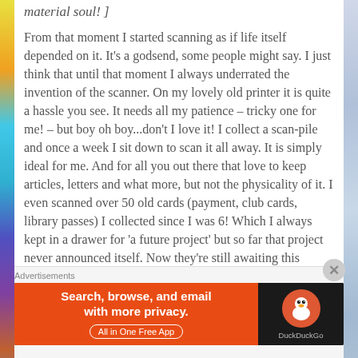material soul! ]
From that moment I started scanning as if life itself depended on it. It's a godsend, some people might say. I just think that until that moment I always underrated the invention of the scanner. On my lovely old printer it is quite a hassle you see. It needs all my patience – tricky one for me! – but boy oh boy...don't I love it! I collect a scan-pile and once a week I sit down to scan it all away. It is simply ideal for me. And for all you out there that love to keep articles, letters and what more, but not the physicality of it. I even scanned over 50 old cards (payment, club cards, library passes) I collected since I was 6! Which I always kept in a drawer for 'a future project' but so far that project never announced itself. Now they're still awaiting this project but in all
Advertisements
[Figure (screenshot): DuckDuckGo advertisement banner: orange left panel with text 'Search, browse, and email with more privacy. All in One Free App', and dark right panel with DuckDuckGo duck logo and brand name.]